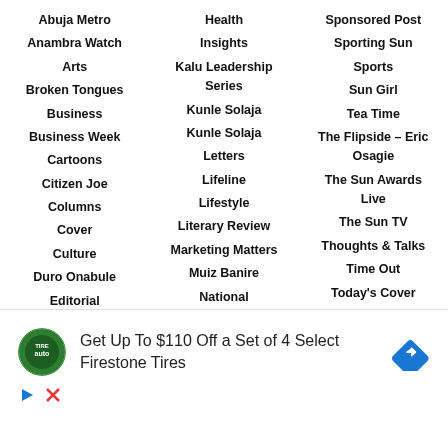Abuja Metro
Anambra Watch
Arts
Broken Tongues
Business
Business Week
Cartoons
Citizen Joe
Columns
Cover
Culture
Duro Onabule
Editorial
Health
Insights
Kalu Leadership Series
Kunle Solaja
Kunle Solaja
Letters
Lifeline
Lifestyle
Literary Review
Marketing Matters
Muiz Banire
National
Sponsored Post
Sporting Sun
Sports
Sun Girl
Tea Time
The Flipside – Eric Osagie
The Sun Awards Live
The Sun TV
Thoughts & Talks
Time Out
Today's Cover
Tola Adeniyi
[Figure (infographic): Advertisement banner: Firestone/TireAuto circular logo on left, text 'Get Up To $110 Off a Set of 4 Select Firestone Tires', blue diamond arrow icon on right, play and close buttons below]